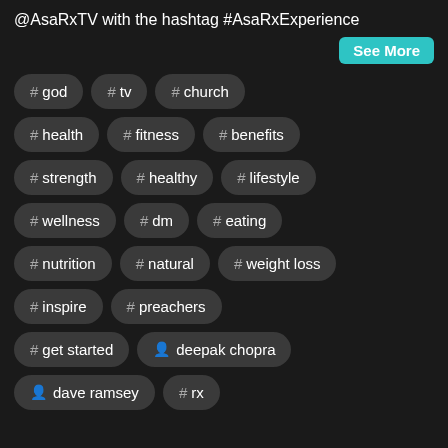@AsaRxTV with the hashtag #AsaRxExperience
See More
# god
# tv
# church
# health
# fitness
# benefits
# strength
# healthy
# lifestyle
# wellness
# dm
# eating
# nutrition
# natural
# weight loss
# inspire
# preachers
# get started
deepak chopra
dave ramsey
# rx